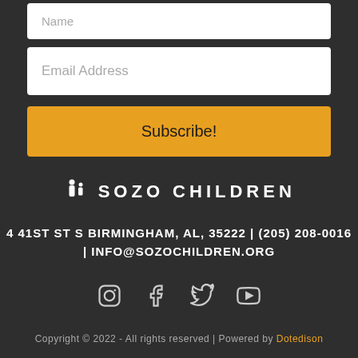[Figure (screenshot): Name input field (text box with placeholder 'Name')]
[Figure (screenshot): Email Address input field (text box with placeholder 'Email Address')]
Subscribe!
[Figure (logo): Sozo Children logo with two figure icons and text 'SOZO CHILDREN']
4 41ST ST S BIRMINGHAM, AL, 35222 | (205) 208-0016 | INFO@SOZOCHILDREN.ORG
[Figure (other): Social media icons: Instagram, Facebook, Twitter, YouTube]
Copyright © 2022 - All rights reserved | Powered by Dotedison